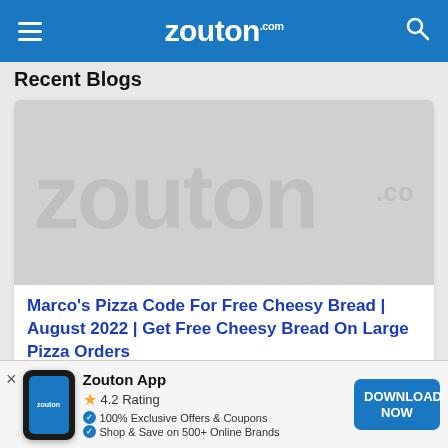zouton.com
Recent Blogs
[Figure (logo): Zouton.com watermark/placeholder image on grey background]
Marco's Pizza Code For Free Cheesy Bread | August 2022 | Get Free Cheesy Bread On Large Pizza Orders
[Figure (screenshot): Partial second blog card]
Zouton App
4.2 Rating
100% Exclusive Offers & Coupons
Shop & Save on 500+ Online Brands
DOWNLOAD NOW